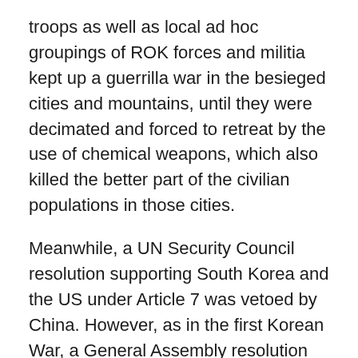troops as well as local ad hoc groupings of ROK forces and militia kept up a guerrilla war in the besieged cities and mountains, until they were decimated and forced to retreat by the use of chemical weapons, which also killed the better part of the civilian populations in those cities.
Meanwhile, a UN Security Council resolution supporting South Korea and the US under Article 7 was vetoed by China. However, as in the first Korean War, a General Assembly resolution by the US was overwhelmingly passed. Unlike the First Korean War, this resolution was co-sponsored and supported by Russia.
Consequently, a small trickle of reinforcements from nations which could provide their own transport, such as the UK, Turkey, India, and Australia, began to arrive in theater. The US 3rd Marine Expeditionary Force, The US